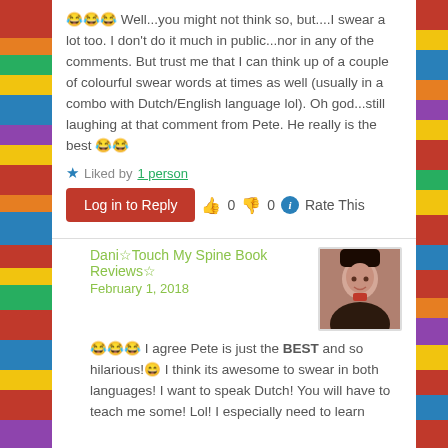😂😂😂 Well...you might not think so, but....I swear a lot too. I don't do it much in public...nor in any of the comments. But trust me that I can think up of a couple of colourful swear words at times as well (usually in a combo with Dutch/English language lol). Oh god...still laughing at that comment from Pete. He really is the best 😂😂
★ Liked by 1 person
👍 0  👎 0  ℹ Rate This
Log in to Reply
Dani☆Touch My Spine Book Reviews☆
February 1, 2018
😂😂😂 I agree Pete is just the BEST and so hilarious!😄 I think its awesome to swear in both languages! I want to speak Dutch! You will have to teach me some! Lol! I especially need to learn